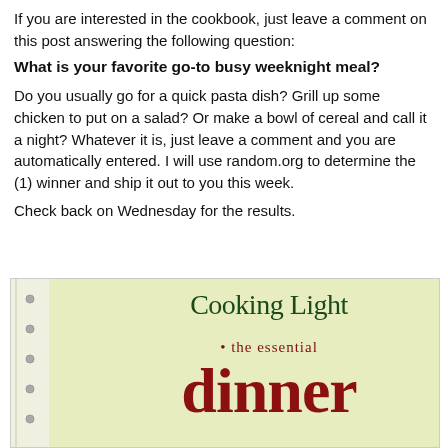If you are interested in the cookbook, just leave a comment on this post answering the following question:
What is your favorite go-to busy weeknight meal?
Do you usually go for a quick pasta dish? Grill up some chicken to put on a salad? Or make a bowl of cereal and call it a night? Whatever it is, just leave a comment and you are automatically entered. I will use random.org to determine the (1) winner and ship it out to you this week.
Check back on Wednesday for the results.
[Figure (photo): Photo of the Cooking Light 'the essential dinner' cookbook cover with dark green and red text on a yellow-green background]